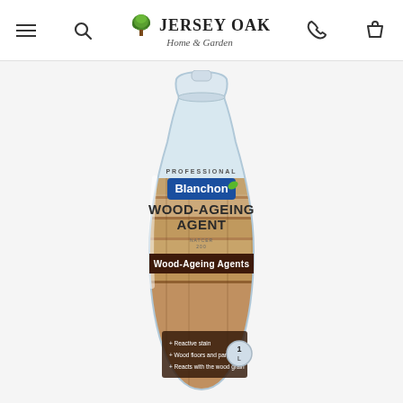Jersey Oak Home & Garden — navigation header with menu, search, phone, and cart icons
[Figure (photo): Blanchon Professional Wood-Ageing Agent 1L bottle with a white plastic body. Label reads: PROFESSIONAL Blanchon WOOD-AGEING AGENT, Wood-Ageing Agents. Bottom panel lists: Reactive stain, Wood floors and panelling, Reacts with the wood grain. Background shows aged wood planks.]